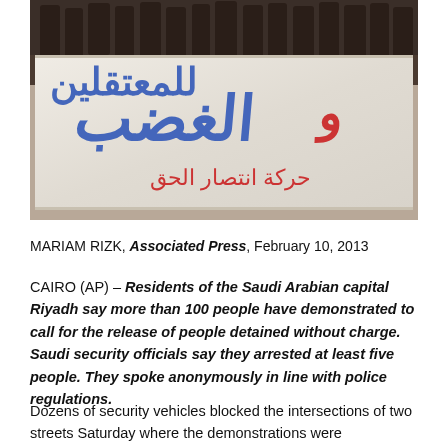[Figure (photo): Protesters holding a large banner with Arabic text in blue and red lettering, appearing to be at a demonstration. The banner shows Arabic script on a white background.]
MARIAM RIZK, Associated Press, February 10, 2013
CAIRO (AP) – Residents of the Saudi Arabian capital Riyadh say more than 100 people have demonstrated to call for the release of people detained without charge. Saudi security officials say they arrested at least five people. They spoke anonymously in line with police regulations.
Dozens of security vehicles blocked the intersections of two streets Saturday where the demonstrations were taking place.